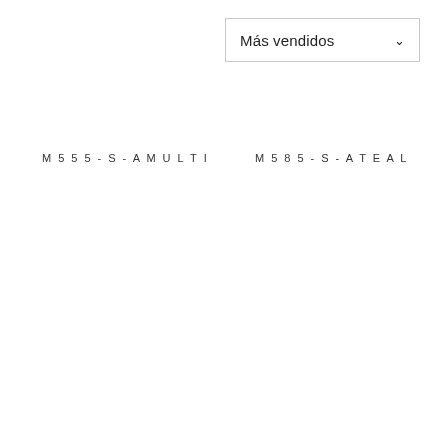Más vendidos
M555-S -A MULTI
M585-S -A TEAL